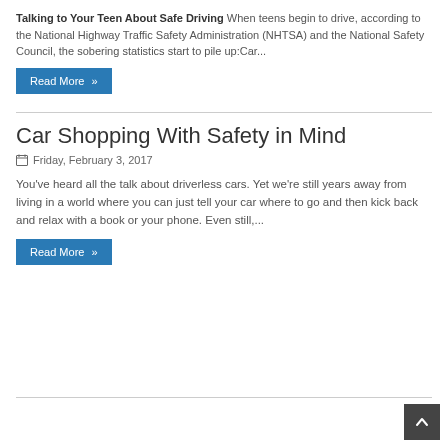Talking to Your Teen About Safe Driving When teens begin to drive, according to the National Highway Traffic Safety Administration (NHTSA) and the National Safety Council, the sobering statistics start to pile up:Car...
Read More »
Car Shopping With Safety in Mind
Friday, February 3, 2017
You've heard all the talk about driverless cars. Yet we're still years away from living in a world where you can just tell your car where to go and then kick back and relax with a book or your phone. Even still,...
Read More »